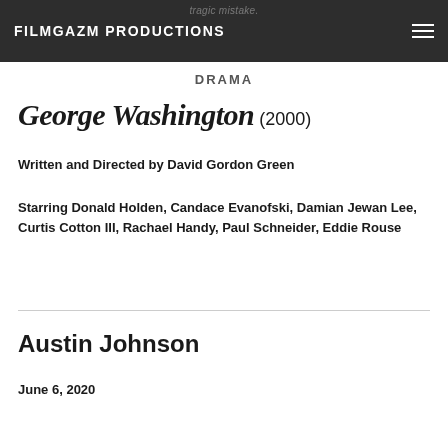FILMGAZM PRODUCTIONS
DRAMA
George Washington (2000)
Written and Directed by David Gordon Green
Starring Donald Holden, Candace Evanofski, Damian Jewan Lee, Curtis Cotton III, Rachael Handy, Paul Schneider, Eddie Rouse
Austin Johnson
June 6, 2020